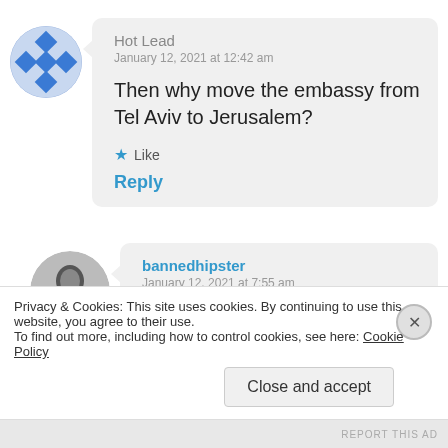Hot Lead
January 12, 2021 at 12:42 am
Then why move the embassy from Tel Aviv to Jerusalem?
Like
Reply
bannedhipster
January 12, 2021 at 7:55 am
Privacy & Cookies: This site uses cookies. By continuing to use this website, you agree to their use.
To find out more, including how to control cookies, see here: Cookie Policy
Close and accept